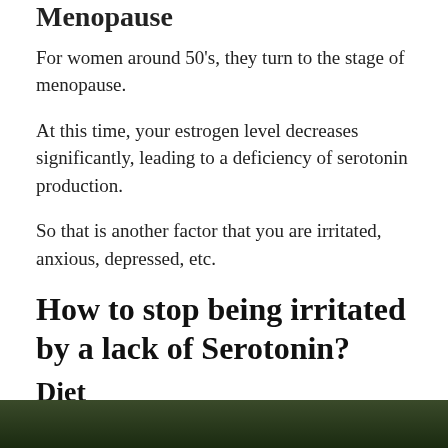Menopause
For women around 50's, they turn to the stage of menopause.
At this time, your estrogen level decreases significantly, leading to a deficiency of serotonin production.
So that is another factor that you are irritated, anxious, depressed, etc.
How to stop being irritated by a lack of Serotonin?
Diet
[Figure (photo): A dark nature/food photograph visible at the bottom of the page]